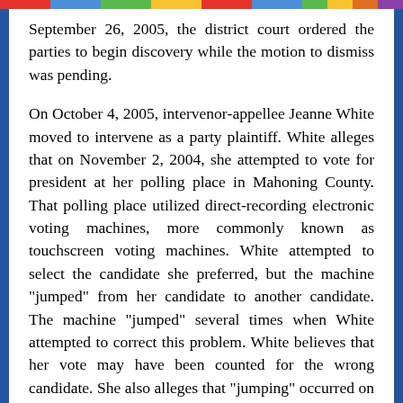September 26, 2005, the district court ordered the parties to begin discovery while the motion to dismiss was pending.
On October 4, 2005, intervenor-appellee Jeanne White moved to intervene as a party plaintiff. White alleges that on November 2, 2004, she attempted to vote for president at her polling place in Mahoning County. That polling place utilized direct-recording electronic voting machines, more commonly known as touchscreen voting machines. White attempted to select the candidate she preferred, but the machine "jumped" from her candidate to another candidate. The machine "jumped" several times when White attempted to correct this problem. White believes that her vote may have been counted for the wrong candidate. She also alleges that "jumping" occurred on other machines in Mahoning and other counties, causing votes to be counted for the wrong candidate. White seeks